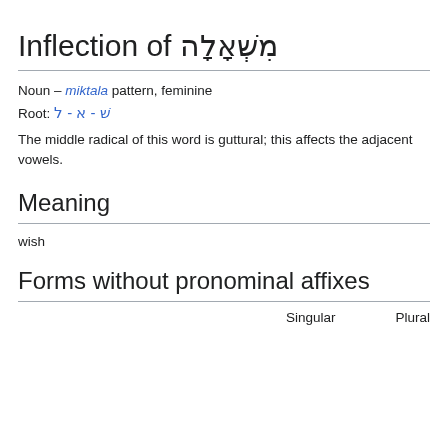Inflection of מִשְׁאָלָה
Noun – miktala pattern, feminine
Root: שׁ - א - ל
The middle radical of this word is guttural; this affects the adjacent vowels.
Meaning
wish
Forms without pronominal affixes
Singular   Plural